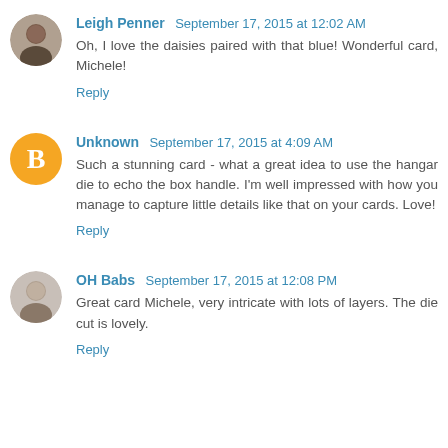[Figure (photo): Profile photo of Leigh Penner, a woman with dark hair]
Leigh Penner  September 17, 2015 at 12:02 AM
Oh, I love the daisies paired with that blue! Wonderful card, Michele!
Reply
[Figure (logo): Orange Blogger B icon for Unknown user]
Unknown  September 17, 2015 at 4:09 AM
Such a stunning card - what a great idea to use the hangar die to echo the box handle. I'm well impressed with how you manage to capture little details like that on your cards. Love!
Reply
[Figure (photo): Profile photo of OH Babs, an older woman with short gray hair]
OH Babs  September 17, 2015 at 12:08 PM
Great card Michele, very intricate with lots of layers. The die cut is lovely.
Reply